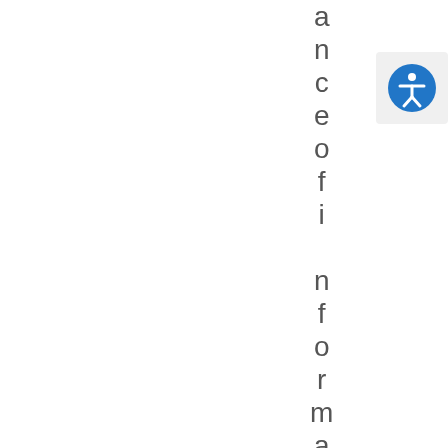ance of information
[Figure (illustration): Accessibility icon: blue circle with white human figure (universal accessibility symbol)]